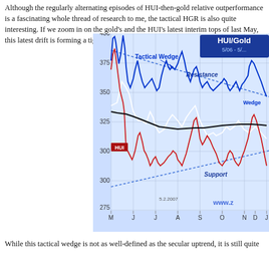Although the regularly alternating episodes of HUI-then-gold relative outperformance is a fascinating whole thread of research to me, the tactical HGR is also quite interesting. If we zoom in on the gold's and the HUI's latest interim tops of last May, this latest drift is forming a tight...
[Figure (continuous-plot): Line chart showing HUI and Gold price movements from May 2006 to January 2007. Y-axis ranges from 275 to 400. Features blue line (HUI), red line, white line, and black moving average. Chart shows a 'Tactical Wedge' with dotted blue resistance line sloping down and dotted blue support line sloping up, labeled 'Resistance' and 'Support'. HUI label shown in red box. Date 5.2.2007 marked. Website watermark visible.]
While this tactical wedge is not as well-defined as the secular uptrend, it is still quite...